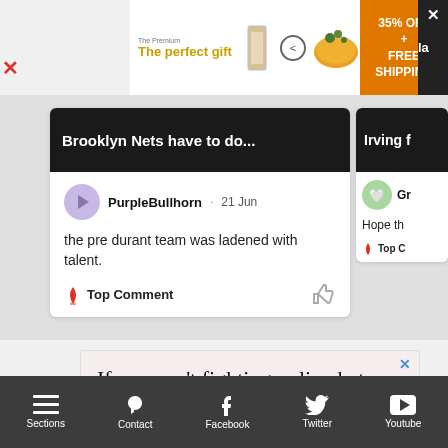[Figure (screenshot): Advertisement banner at top: 'The perfect gift' with product images and navigation arrows, orange section with '35% OFF + FREE SHIPPING', close button]
[Figure (screenshot): Comment card for Brooklyn Nets article. User 'PurpleBullhorn' posted '21 Jun': 'the pre durant team was ladened with talent.' Labeled as Top Comment with thumbs up icon.]
[Figure (screenshot): Partial right comment card: 'Irving f...' header, user 'Gr...' avatar, comment starting 'Hope th...' and 'Top C...' label]
[Figure (screenshot): Advertisement: light pink background with serif text: 'If we aren’t fighting online hate, then who are the real trolls?']
[Figure (screenshot): Bottom navigation bar with icons and labels: Sections, Contact, Facebook, Twitter, Youtube]